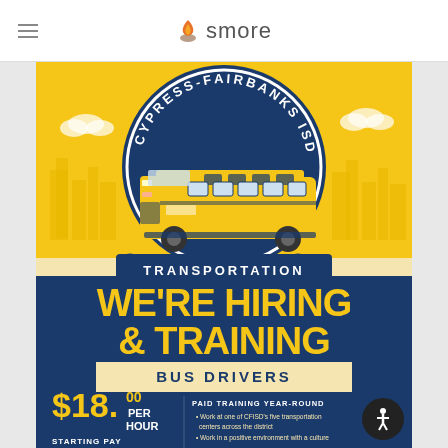smore
[Figure (illustration): Cypress-Fairbanks ISD Transportation recruitment flyer with school bus illustration inside a circular emblem, 'WE'RE HIRING & TRAINING BUS DRIVERS' headline, $18.00 per hour starting pay, and paid training information on a blue and yellow background.]